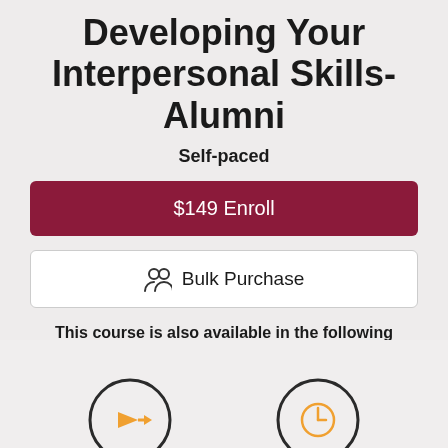Developing Your Interpersonal Skills-Alumni
Self-paced
$149 Enroll
Bulk Purchase
This course is also available in the following program:
Professional Skills Mastery - Professionalism (Alumni)
[Figure (illustration): Two circular icon badges partially visible at the bottom of the page, one with an orange/yellow arrow icon and one with a clock/time icon]